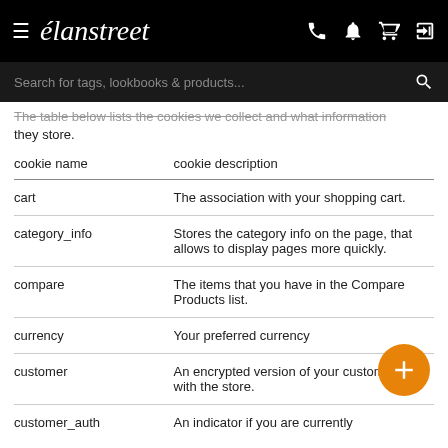élanstreet — navigation header with hamburger menu, brand name, phone, bell, cart, and sign-in icons
Search for tags, lookbooks & products...
The table below lists the cookies we collect and what information they store.
| cookie name | cookie description |
| --- | --- |
| cart | The association with your shopping cart. |
| category_info | Stores the category info on the page, that allows to display pages more quickly. |
| compare | The items that you have in the Compare Products list. |
| currency | Your preferred currency |
| customer | An encrypted version of your customer id with the store. |
| customer_auth | An indicator if you are currently |